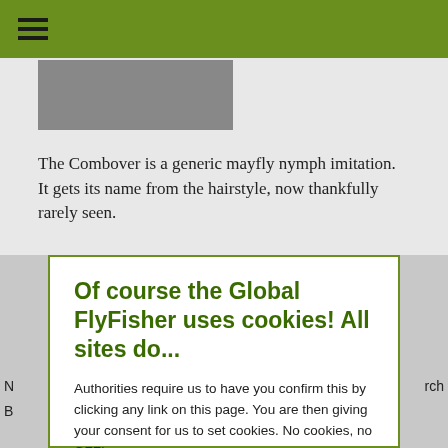[Figure (other): Green navigation bar with hamburger menu icon at top of page]
[Figure (photo): Gray image placeholder for fly fishing photo]
The Combover is a generic mayfly nymph imitation. It gets its name from the hairstyle, now thankfully rarely seen.
Of course the Global FlyFisher uses cookies! All sites do...
Authorities require us to have you confirm this by clicking any link on this page. You are then giving your consent for us to set cookies. No cookies, no GFF!
More about privacy and cookies
OK, I agree